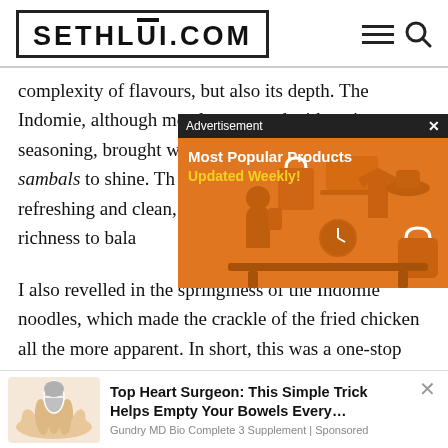SETHLUI.COM
complexity of flavours, but also its depth. The Indomie, although mostly seasoned with an instant seasoning, brought with it suf... all three sambals to shine. Th... bright, refreshing and clean, ... provided the richness to bala...
[Figure (screenshot): Advertisement overlay with orange background showing 'Most Popular Products Updated Weekly!' text and shopping icons]
I also revelled in the springiness of the Indomie noodles, which made the crackle of the fried chicken all the more apparent. In short, this was a one-stop
[Figure (screenshot): Bottom advertisement banner: 'Top Heart Surgeon: This Simple Trick Helps Empty Your Bowels Every...' by Gundry MD Bio Complete 3 Supplement | Sponsored]